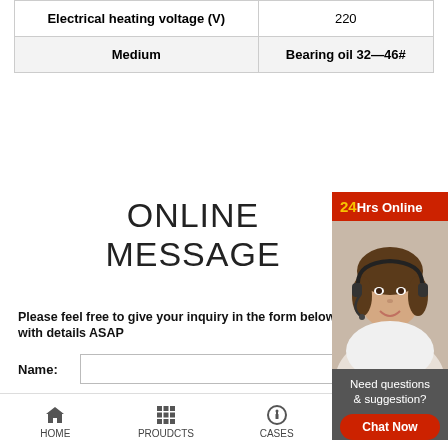| Property | Value |
| --- | --- |
| Electrical heating voltage (V) | 220 |
| Medium | Bearing oil 32—46# |
ONLINE MESSAGE
Please feel free to give your inquiry in the form below. We will reply you with details ASAP
[Figure (photo): Customer service representative with headset smiling, with 24Hrs Online banner, Need questions & suggestion text, Chat Now button, Enquiry section, and limingjlmofen section]